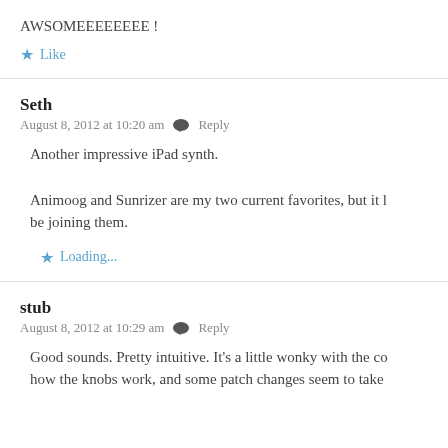AWSOMEEEEEEEE !
★ Like
Seth
August 8, 2012 at 10:20 am   Reply
Another impressive iPad synth.
Animoog and Sunrizer are my two current favorites, but it l be joining them.
★ Loading...
stub
August 8, 2012 at 10:29 am   Reply
Good sounds. Pretty intuitive. It's a little wonky with the co how the knobs work, and some patch changes seem to take